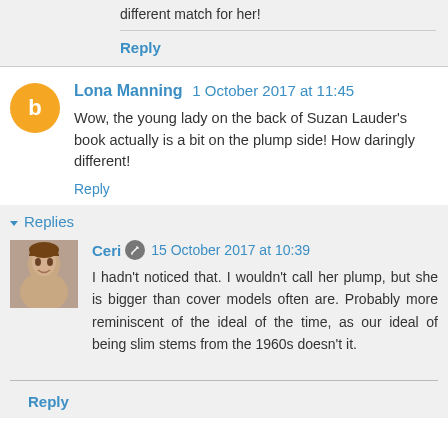different match for her!
Reply
Lona Manning  1 October 2017 at 11:45
Wow, the young lady on the back of Suzan Lauder's book actually is a bit on the plump side! How daringly different!
Reply
Replies
Ceri  15 October 2017 at 10:39
I hadn't noticed that. I wouldn't call her plump, but she is bigger than cover models often are. Probably more reminiscent of the ideal of the time, as our ideal of being slim stems from the 1960s doesn't it.
Reply